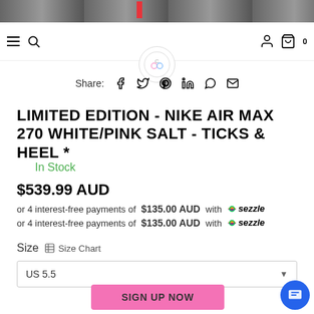[Figure (photo): Top banner showing Nike sneaker product image in dark/grey tones with red accent]
Navigation bar with hamburger menu, search icon, logo, user icon, cart icon (0)
Share: [Facebook] [Twitter] [Pinterest] [LinkedIn] [WhatsApp] [Email]
LIMITED EDITION - NIKE AIR MAX 270 WHITE/PINK SALT - TICKS & HEEL *
In Stock
$539.99 AUD
or 4 interest-free payments of $135.00 AUD with sezzle
or 4 interest-free payments of $135.00 AUD with sezzle
Size  Size Chart
US 5.5
SIGN UP NOW